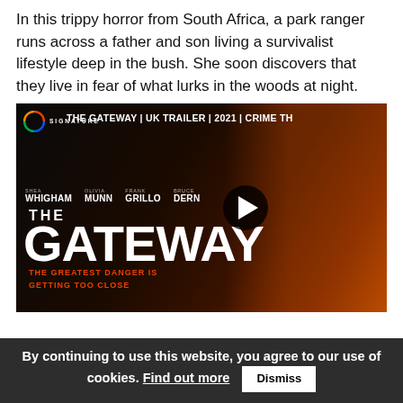In this trippy horror from South Africa, a park ranger runs across a father and son living a survivalist lifestyle deep in the bush. She soon discovers that they live in fear of what lurks in the woods at night.
[Figure (screenshot): Video thumbnail for 'THE GATEWAY | UK TRAILER | 2021 | CRIME TH' with Signature logo, actor names (Shea Whigham, Olivia Munn, Frank Grillo, Bruce Dern), large GATEWAY title text, play button, tagline 'THE GREATEST DANGER IS GETTING TOO CLOSE', and two people visible on right side]
By continuing to use this website, you agree to our use of cookies. Find out more  Dismiss